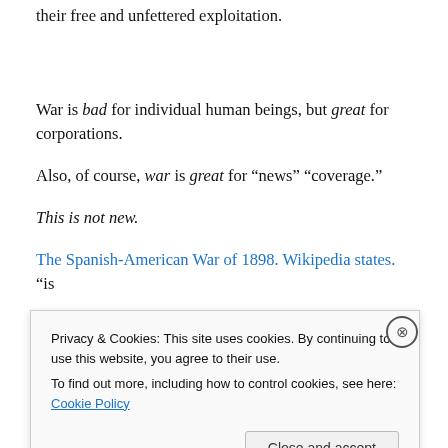their free and unfettered exploitation.
War is bad for individual human beings, but great for corporations.
Also, of course, war is great for “news” “coverage.”
This is not new.
The Spanish-American War of 1898. Wikipedia states. “is
Privacy & Cookies: This site uses cookies. By continuing to use this website, you agree to their use.
To find out more, including how to control cookies, see here: Cookie Policy
Close and accept